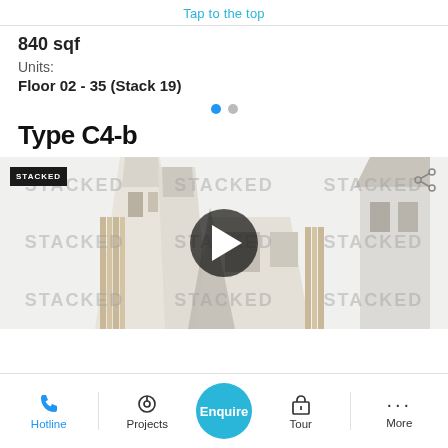Tap to the top
840 sqf
Units:
Floor 02 - 35 (Stack 19)
Type C4-b
[Figure (photo): 3D architectural rendering of a building exterior/floor plan cut-through with a play button overlay, watermarked with STACKED text. Black STACKED logo box in top left.]
Hotline | Projects | Enquire | Tour | More